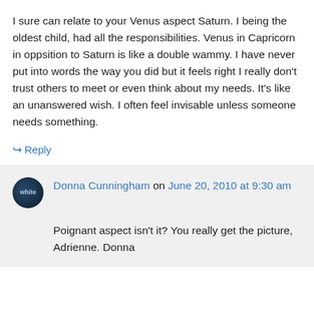I sure can relate to your Venus aspect Saturn. I being the oldest child, had all the responsibilities. Venus in Capricorn in oppsition to Saturn is like a double wammy. I have never put into words the way you did but it feels right I really don't trust others to meet or even think about my needs. It's like an unanswered wish. I often feel invisable unless someone needs something.
↪ Reply
Donna Cunningham on June 20, 2010 at 9:30 am
Poignant aspect isn't it? You really get the picture, Adrienne. Donna